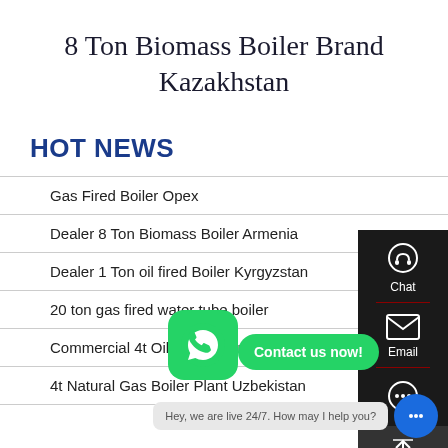8 Ton Biomass Boiler Brand Kazakhstan
HOT NEWS
Gas Fired Boiler Opex
Dealer 8 Ton Biomass Boiler Armenia
Dealer 1 Ton oil fired Boiler Kyrgyzstan
20 ton gas fired water tube boiler
Commercial 4t Oil Boiler Plant
4t Natural Gas Boiler Plant Uzbekistan
[Figure (screenshot): Right sidebar with Chat, Email, and scroll-to-top buttons on dark background]
[Figure (screenshot): WhatsApp green icon overlay with 'Contact us now!' green button]
[Figure (screenshot): Chat bubble at bottom right with tooltip: Hey, we are live 24/7. How may I help you?]